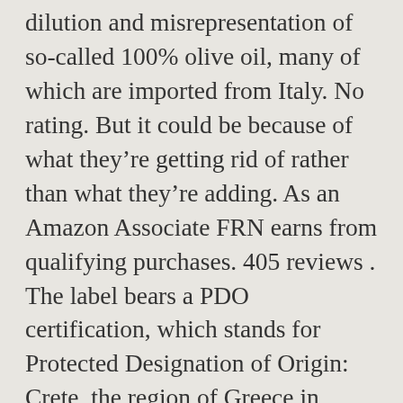dilution and misrepresentation of so-called 100% olive oil, many of which are imported from Italy. No rating. But it could be because of what they're getting rid of rather than what they're adding. As an Amazon Associate FRN earns from qualifying purchases. 405 reviews . The label bears a PDO certification, which stands for Protected Designation of Origin: Crete, the region of Greece in which Ellora Farms is located, lays a special claim on its olive oils. Above the microwave? The good news is that while we don't know how common it is, outright fraud in the olive oil industry may be relatively rare in the United States. I love that kirkland olive oil taste almost as Italian olive oil. The other half of the nutrients that were in the